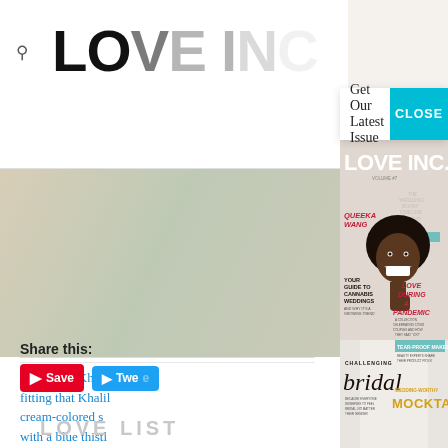[Figure (screenshot): Website background showing LOVE INC. magazine website with partial logo, search icon, floral photo, article text in blue, share buttons (Pinterest Save, Twitter Tweet), and LOVE LIST footer text]
Get Our Latest Issue
CLOSE
[Figure (photo): Love Inc. magazine cover featuring a smiling Black man with an afro hairstyle. Cover text includes: LOVE INC., VOLUME #7, RISING FASHION STAR QUEEKA WANG, YOUR GUIDE TO CANNABIS WEDDINGS AND WHY IT'S A GROWING TREND, THE "WEDDING BOOM" TIMELINE AND WHEN TO BOOK YOUR VENDORS (HINT: SOONER THAN YOU THINK!), LOVE DURING A PANDEMIC - A COLLECTION CELEBRATING COVID COUPLES AND HOW THEY SAID "I DO", TEAR-PROOF MAKEUP - BEAUTY EXPERTS SHARE THEIR PRODUCT PICKS!, CHALLENGING bridal BECAUSE EVERYONE DESERVES TO FEEL BRIDAL NO MATTER THEIR GENDER, WEDDING-WORTHY MOCKTAILS]